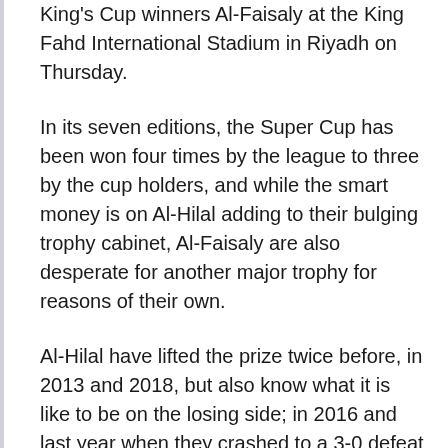King's Cup winners Al-Faisaly at the King Fahd International Stadium in Riyadh on Thursday.
In its seven editions, the Super Cup has been won four times by the league to three by the cup holders, and while the smart money is on Al-Hilal adding to their bulging trophy cabinet, Al-Faisaly are also desperate for another major trophy for reasons of their own.
Al-Hilal have lifted the prize twice before, in 2013 and 2018, but also know what it is like to be on the losing side; in 2016 and last year when they crashed to a 3-0 defeat at the hands of Riyadh rivals Al-Nassr. Two weeks later coach Razvan Lucescu was out of a job.
Current coach Leonardo Jardim also needs to